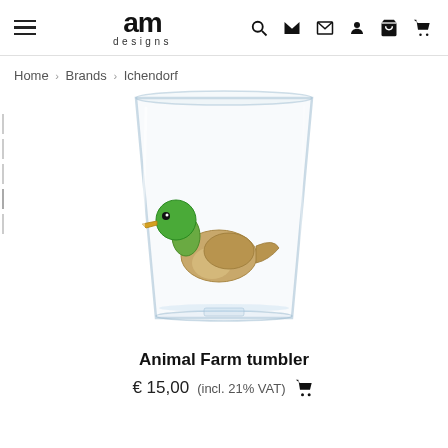am designs — Home > Brands > Ichendorf
Home > Brands > Ichendorf
[Figure (photo): Clear glass tumbler with a small decorative glass mallard duck figurine inside. The duck has a green head and brown/tan body, sitting on a small glass pedestal at the bottom of the tumbler.]
Animal Farm tumbler
€ 15,00 (incl. 21% VAT)